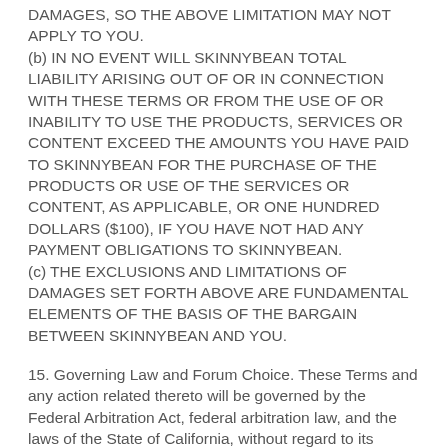DAMAGES, SO THE ABOVE LIMITATION MAY NOT APPLY TO YOU. (b) IN NO EVENT WILL SKINNYBEAN TOTAL LIABILITY ARISING OUT OF OR IN CONNECTION WITH THESE TERMS OR FROM THE USE OF OR INABILITY TO USE THE PRODUCTS, SERVICES OR CONTENT EXCEED THE AMOUNTS YOU HAVE PAID TO SKINNYBEAN FOR THE PURCHASE OF THE PRODUCTS OR USE OF THE SERVICES OR CONTENT, AS APPLICABLE, OR ONE HUNDRED DOLLARS ($100), IF YOU HAVE NOT HAD ANY PAYMENT OBLIGATIONS TO SKINNYBEAN. (c) THE EXCLUSIONS AND LIMITATIONS OF DAMAGES SET FORTH ABOVE ARE FUNDAMENTAL ELEMENTS OF THE BASIS OF THE BARGAIN BETWEEN SKINNYBEAN AND YOU.
15. Governing Law and Forum Choice. These Terms and any action related thereto will be governed by the Federal Arbitration Act, federal arbitration law, and the laws of the State of California, without regard to its conflict of laws